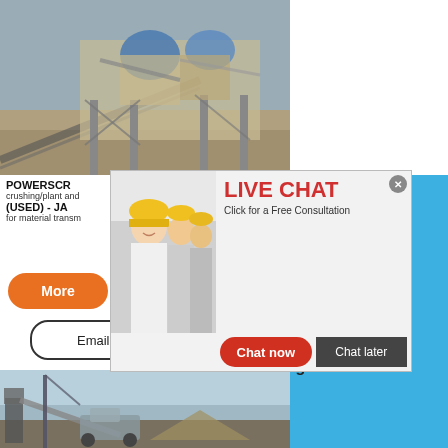[Figure (photo): Aerial/ground view of large quarry/mining crushing plant machinery on elevated steel structure, outdoor setting with rocky terrain and blue equipment]
[Figure (photo): Live chat popup overlay showing smiling person in hard hat with engineers in background, 'LIVE CHAT - Click for a Free Consultation' in red text, close X button, Chat now (red) and Chat later (dark) buttons]
POWERSCR
crushing/plant and
(USED) - JA
for material transm
hour online
[Figure (photo): White/grey jaw crusher machine with red flywheel visible on right sidebar]
Click me to chat>>
Crusher
For Sale
- Aimix Crusher
Screening
POWERSCREEN - JBT
POWERSCREEN - JAW CRUSHER
More
Get Price
Email contact
Enquiry
yuwencrusher
[Figure (photo): Ground-level photo of mobile crushing/screening plant machinery with conveyor belt in outdoor setting, blue sky and industrial equipment visible]